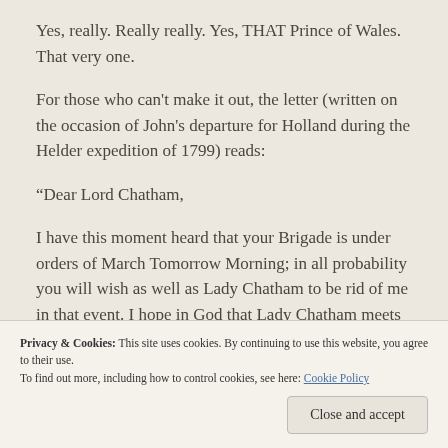Yes, really. Really really. Yes, THAT Prince of Wales. That very one.
For those who can't make it out, the letter (written on the occasion of John's departure for Holland during the Helder expedition of 1799) reads:
“Dear Lord Chatham,
I have this moment heard that your Brigade is under orders of March Tomorrow Morning; in all probability you will wish as well as Lady Chatham to be rid of me in that event. I hope in God that Lady Chatham meets this severe trial with proper
Privacy & Cookies: This site uses cookies. By continuing to use this website, you agree to their use.
To find out more, including how to control cookies, see here: Cookie Policy
Close and accept